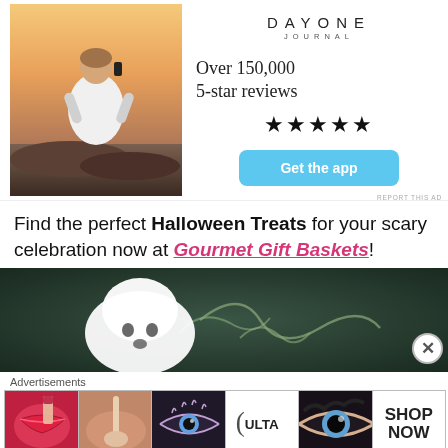[Figure (photo): Advertisement: Man sitting on rocks photographing sunset, DayOne Journal app ad with 5-star reviews and Get the app button]
Find the perfect Halloween Treats for your scary celebration now at Gourmet Gift Baskets!
[Figure (photo): Halloween-themed image with ghost illustrations on dark green background]
Advertisements
[Figure (photo): Beauty/cosmetics advertisement strip showing makeup, ULTA logo, and SHOP NOW text]